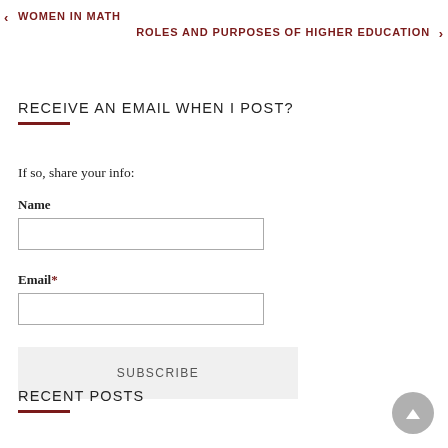← WOMEN IN MATH
ROLES AND PURPOSES OF HIGHER EDUCATION →
RECEIVE AN EMAIL WHEN I POST?
If so, share your info:
Name
Email*
SUBSCRIBE
RECENT POSTS